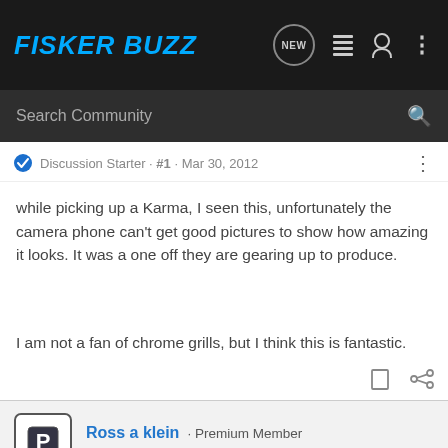FISKER BUZZ
Search Community
Discussion Starter · #1 · Mar 30, 2012
while picking up a Karma, I seen this, unfortunately the camera phone can't get good pictures to show how amazing it looks. It was a one off they are gearing up to produce.
I am not a fan of chrome grills, but I think this is fantastic.
Ross a klein · Premium Member
Joined Mar 8, 2012 · 119 Posts